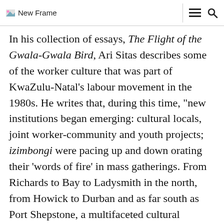New Frame
In his collection of essays, The Flight of the Gwala-Gwala Bird, Ari Sitas describes some of the worker culture that was part of KwaZulu-Natal's labour movement in the 1980s. He writes that, during this time, “new institutions began emerging: cultural locals, joint worker-community and youth projects; izimbongi were pacing up and down orating their ‘words of fire’ in mass gatherings. From Richards to Bay to Ladysmith in the north, from Howick to Durban and as far south as Port Shepstone, a multifaceted cultural contribution [was] growing.”